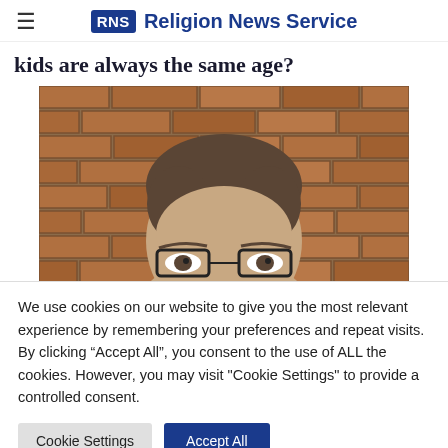RNS Religion News Service
kids are always the same age?
[Figure (photo): A man with glasses and short brown hair peeking into frame from below, against a brick wall background. Only the top half of his face is visible.]
We use cookies on our website to give you the most relevant experience by remembering your preferences and repeat visits. By clicking “Accept All”, you consent to the use of ALL the cookies. However, you may visit "Cookie Settings" to provide a controlled consent.
Cookie Settings   Accept All